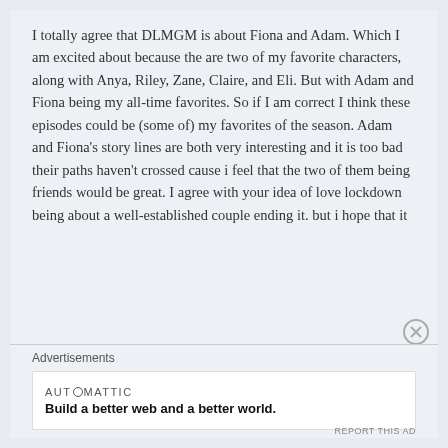I totally agree that DLMGM is about Fiona and Adam. Which I am excited about because the are two of my favorite characters, along with Anya, Riley, Zane, Claire, and Eli. But with Adam and Fiona being my all-time favorites. So if I am correct I think these episodes could be (some of) my favorites of the season. Adam and Fiona's story lines are both very interesting and it is too bad their paths haven't crossed cause i feel that the two of them being friends would be great. I agree with your idea of love lockdown being about a well-established couple ending it. but i hope that it
Advertisements
[Figure (other): Automattic advertisement: 'Build a better web and a better world.']